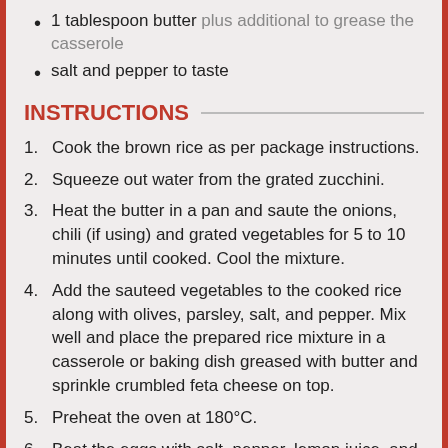1 tablespoon butter plus additional to grease the casserole
salt and pepper to taste
INSTRUCTIONS
Cook the brown rice as per package instructions.
Squeeze out water from the grated zucchini.
Heat the butter in a pan and saute the onions, chili (if using) and grated vegetables for 5 to 10 minutes until cooked. Cool the mixture.
Add the sauteed vegetables to the cooked rice along with olives, parsley, salt, and pepper. Mix well and place the prepared rice mixture in a casserole or baking dish greased with butter and sprinkle crumbled feta cheese on top.
Preheat the oven at 180°C.
Beat the eggs with salt, pepper, lemon juice, and zest. Pour evenly on top of the rice mixture and bake